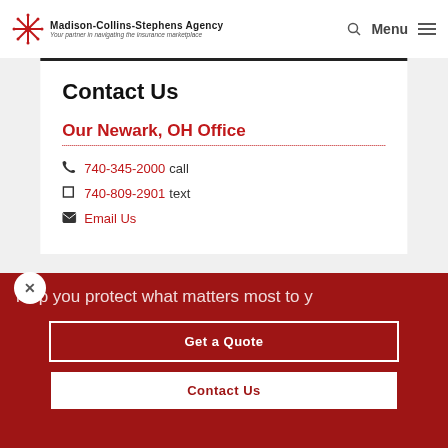Madison-Collins-Stephens Agency — Your partner in navigating the insurance marketplace
Contact Us
Our Newark, OH Office
740-345-2000 call
740-809-2901 text
Email Us
help you protect what matters most to you
Get a Quote
Contact Us